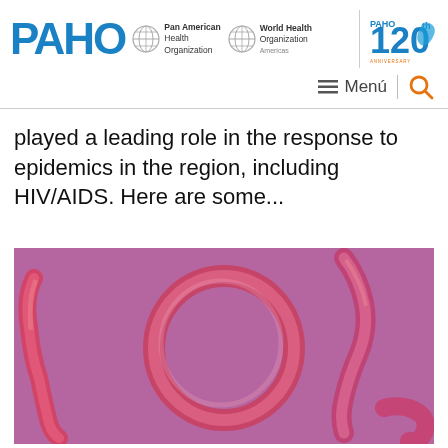PAHO | Pan American Health Organization | World Health Organization Americas | PAHO 120th Anniversary
played a leading role in the response to epidemics in the region, including HIV/AIDS. Here are some...
[Figure (photo): Close-up photo of worm-like organisms (helminths/parasitic worms) arranged on a purple/pink background, partially spelling out letters]